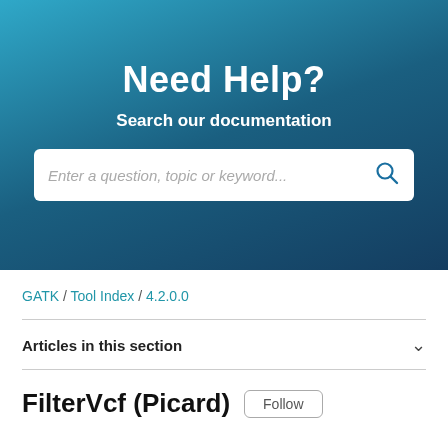Need Help?
Search our documentation
Enter a question, topic or keyword...
GATK / Tool Index / 4.2.0.0
Articles in this section
FilterVcf (Picard)